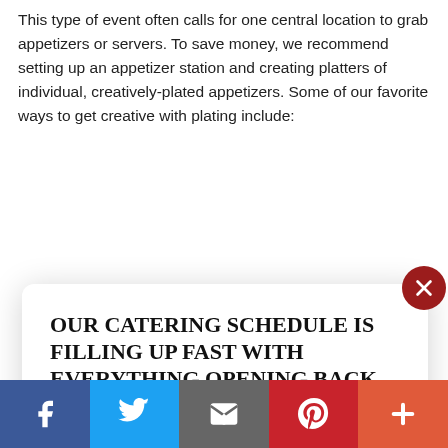This type of event often calls for one central location to grab appetizers or servers. To save money, we recommend setting up an appetizer station and creating platters of individual, creatively-plated appetizers. Some of our favorite ways to get creative with plating include:
[Figure (screenshot): Modal popup with catering advertisement text and a 'GET A QUOTE!' button, with a dark red close (X) button in top right corner]
OUR CATERING SCHEDULE IS FILLING UP FAST WITH EVERYTHING OPENING BACK UP AGAIN IN 2021. BOOK YOUR EVENT NOW !
GET A QUOTE!
[Figure (infographic): Social sharing bar with Facebook (blue), Twitter (light blue), Email (grey), Pinterest (red), and More (orange-red) icons]